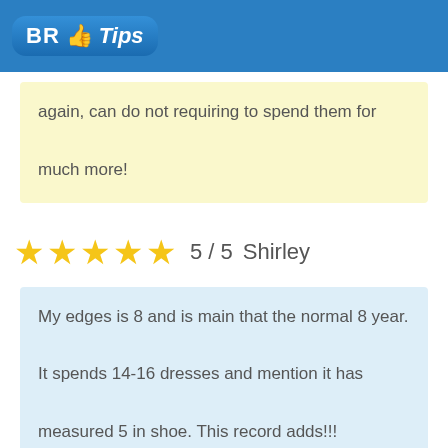BR Tips
again, can do not requiring to spend them for much more!
5 / 5  Shirley
My edges is 8 and is main that the normal 8 year. It spends 14-16 dresses and mention it has measured 5 in shoe. This record adds!!!
4 / 5  Roseanna